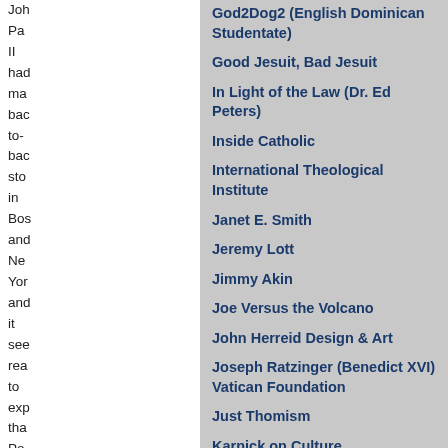John Paul II had made back-to-back stories in Boston and New York and it seemed ready to explain that Pope Benedict
God2Dog2 (English Dominican Studentate)
Good Jesuit, Bad Jesuit
In Light of the Law (Dr. Ed Peters)
Inside Catholic
International Theological Institute
Janet E. Smith
Jeremy Lott
Jimmy Akin
Joe Versus the Volcano
John Herreid Design & Art
Joseph Ratzinger (Benedict XVI) Vatican Foundation
Just Thomism
Karnick on Culture